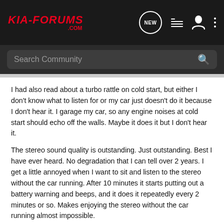KIA-FORUMS.COM
Search Community
I had also read about a turbo rattle on cold start, but either I don't know what to listen for or my car just doesn't do it because I don't hear it. I garage my car, so any engine noises at cold start should echo off the walls. Maybe it does it but I don't hear it.
The stereo sound quality is outstanding. Just outstanding. Best I have ever heard. No degradation that I can tell over 2 years. I get a little annoyed when I want to sit and listen to the stereo without the car running. After 10 minutes it starts putting out a battery warning and beeps, and it does it repeatedly every 2 minutes or so. Makes enjoying the stereo without the car running almost impossible.